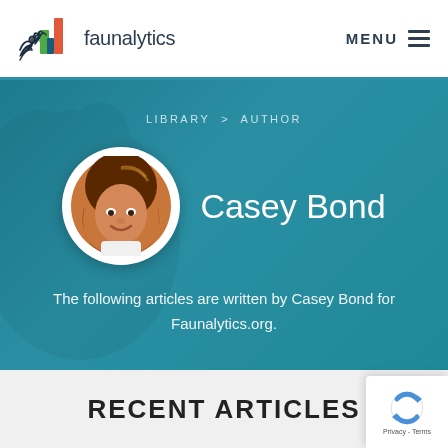[Figure (logo): Faunalytics logo with colorful bar chart icon and bird silhouette, with text 'faunalytics']
MENU
[Figure (illustration): Author profile banner with teal background and faint dog silhouette. Breadcrumb reads LIBRARY > AUTHOR. Circular portrait photo of Casey Bond with name displayed.]
LIBRARY > AUTHOR
Casey Bond
The following articles are written by Casey Bond for Faunalytics.org.
RECENT ARTICLES
[Figure (other): reCAPTCHA badge with blue spinning arrows icon and Privacy - Terms text]